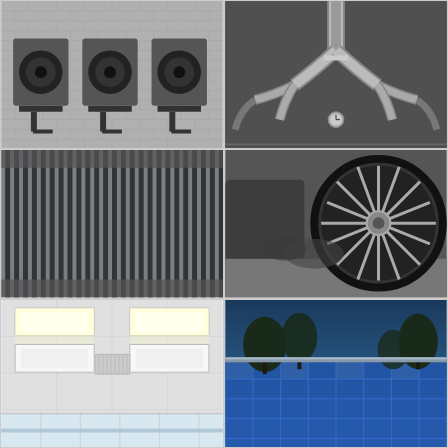[Figure (photo): Black and white photo of three HVAC outdoor air conditioning units mounted on a wall bracket against a brick wall]
[Figure (photo): Black and white photo of industrial metallic HVAC ductwork and pipes converging from ceiling, symmetrical arrangement]
[Figure (photo): Black and white photo of ventilation grille or louver panel with uniform vertical slats pattern]
[Figure (photo): Black and white photo of a circular ventilation fan or duct opening with radial blades, outdoor setting]
[Figure (photo): Color photo of interior ceiling with recessed fluorescent lighting panels in a commercial space]
[Figure (photo): Color photo of exterior building with blue glass facade reflecting sky and trees at dusk]